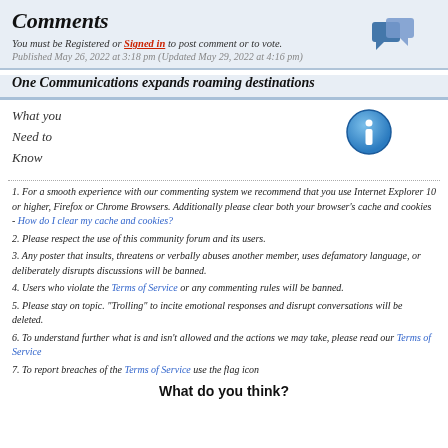Comments
You must be Registered or Signed in to post comment or to vote.
Published May 26, 2022 at 3:18 pm (Updated May 29, 2022 at 4:16 pm)
One Communications expands roaming destinations
What you Need to Know
[Figure (illustration): Blue circular information icon with letter i]
1. For a smooth experience with our commenting system we recommend that you use Internet Explorer 10 or higher, Firefox or Chrome Browsers. Additionally please clear both your browser's cache and cookies - How do I clear my cache and cookies?
2. Please respect the use of this community forum and its users.
3. Any poster that insults, threatens or verbally abuses another member, uses defamatory language, or deliberately disrupts discussions will be banned.
4. Users who violate the Terms of Service or any commenting rules will be banned.
5. Please stay on topic. "Trolling" to incite emotional responses and disrupt conversations will be deleted.
6. To understand further what is and isn't allowed and the actions we may take, please read our Terms of Service
7. To report breaches of the Terms of Service use the flag icon
What do you think?